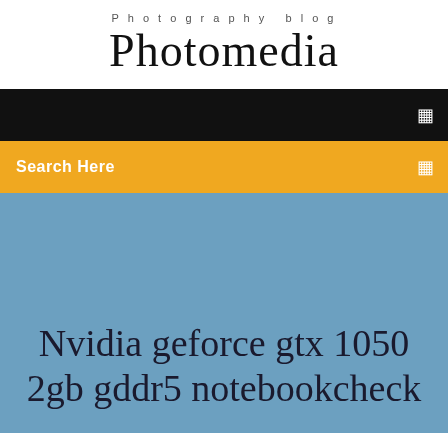Photography blog
Photomedia
☰
Search Here
Nvidia geforce gtx 1050 2gb gddr5 notebookcheck